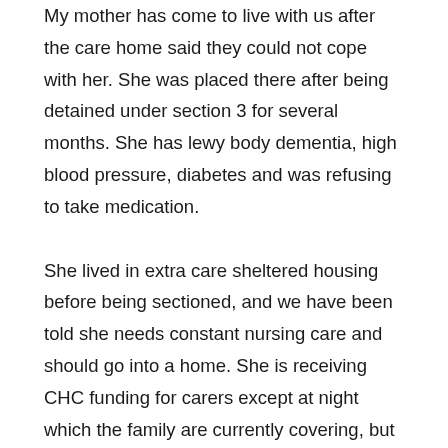My mother has come to live with us after the care home said they could not cope with her. She was placed there after being detained under section 3 for several months. She has lewy body dementia, high blood pressure, diabetes and was refusing to take medication.

She lived in extra care sheltered housing before being sectioned, and we have been told she needs constant nursing care and should go into a home. She is receiving CHC funding for carers except at night which the family are currently covering, but who work full time. We want her to be given accommodation again where the carers